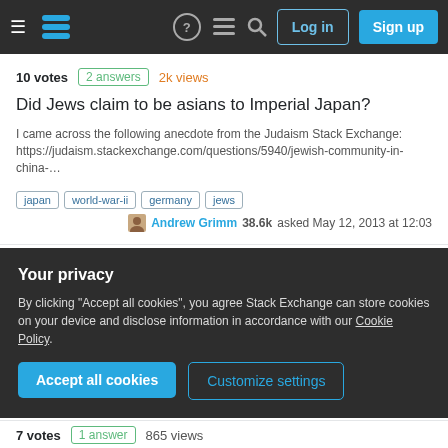Stack Exchange navigation bar with Log in and Sign up buttons
10 votes | 2 answers | 2k views
Did Jews claim to be asians to Imperial Japan?
I came across the following anecdote from the Judaism Stack Exchange: https://judaism.stackexchange.com/questions/5940/jewish-community-in-china-...
japan
world-war-ii
germany
jews
Andrew Grimm 38.6k asked May 12, 2013 at 12:03
8 votes | 1 answer | 2k views
Did 40% of the NKVD (Soviet police) leadership have Jewish nationality?
Your privacy
By clicking "Accept all cookies", you agree Stack Exchange can store cookies on your device and disclose information in accordance with our Cookie Policy.
Accept all cookies
Customize settings
7 votes | 1 answer | 865 views